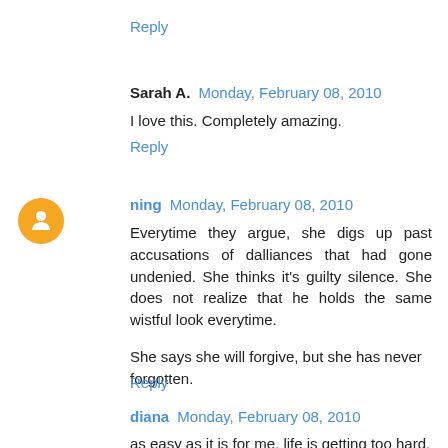Reply
Sarah A. Monday, February 08, 2010
I love this. Completely amazing.
Reply
ning Monday, February 08, 2010
Everytime they argue, she digs up past accusations of dalliances that had gone undenied. She thinks it's guilty silence. She does not realize that he holds the same wistful look everytime.

She says she will forgive, but she has never forgotten.
Reply
diana Monday, February 08, 2010
as easy as it is for me, life is getting too hard.